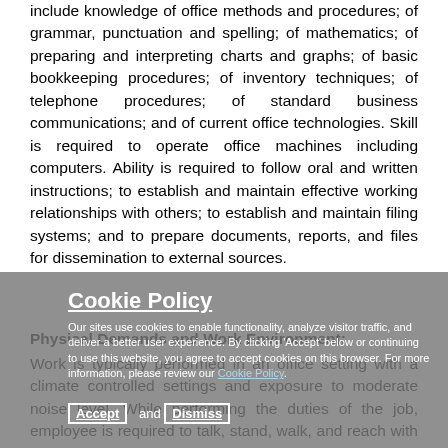include knowledge of office methods and procedures; of grammar, punctuation and spelling; of mathematics; of preparing and interpreting charts and graphs; of basic bookkeeping procedures; of inventory techniques; of telephone procedures; of standard business communications; and of current office technologies. Skill is required to operate office machines including computers. Ability is required to follow oral and written instructions; to establish and maintain effective working relationships with others; to establish and maintain filing systems; and to prepare documents, reports, and files for dissemination to external sources.
Physical Demands and Work Environment:
Work is typically performed in an office setting with a climate controlled settings and exposure to moderate noise level. While performing the duties of the job, employee is required to talk, stand, walk, and reach with hands and arms. This position requires long period of sitting and daily use of computer and phone.